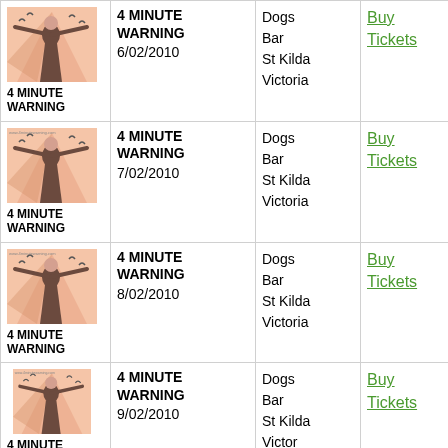| Image | Event | Venue | Action |
| --- | --- | --- | --- |
| 4 MINUTE WARNING [image] | 4 MINUTE WARNING
6/02/2010 | Dogs
Bar
St Kilda
Victoria | Buy Tickets |
| 4 MINUTE WARNING [image] | 4 MINUTE WARNING
7/02/2010 | Dogs
Bar
St Kilda
Victoria | Buy Tickets |
| 4 MINUTE WARNING [image] | 4 MINUTE WARNING
8/02/2010 | Dogs
Bar
St Kilda
Victoria | Buy Tickets |
| 4 MINUTE WARNING [image] | 4 MINUTE WARNING
9/02/2010 | Dogs
Bar
St Kilda
Victoria | Buy Tickets |